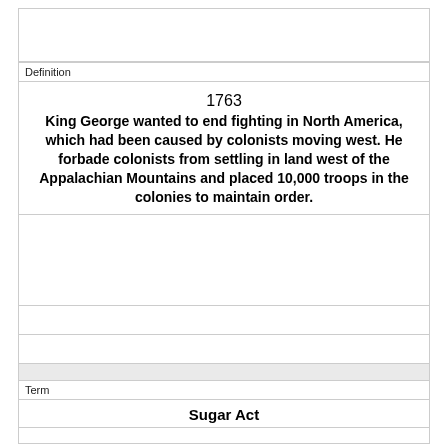Definition
1763
King George wanted to end fighting in North America, which had been caused by colonists moving west. He forbade colonists from settling in land west of the Appalachian Mountains and placed 10,000 troops in the colonies to maintain order.
Term
Sugar Act